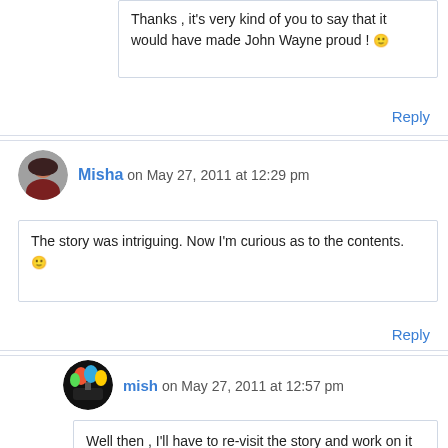Thanks , it's very kind of you to say that it would have made John Wayne proud ! 🙂
Reply
Misha on May 27, 2011 at 12:29 pm
The story was intriguing. Now I'm curious as to the contents. 🙂
Reply
mish on May 27, 2011 at 12:57 pm
Well then , I'll have to re-visit the story and work on it some more ... 🙂 Time permitting ... 🙂
Reply